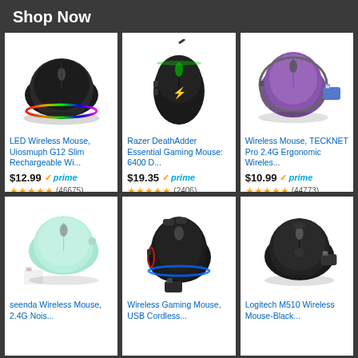Shop Now
[Figure (photo): LED Wireless Mouse with RGB lighting, slim design, black]
LED Wireless Mouse, Uiosmuph G12 Slim Rechargeable Wi...
$12.99 prime (46675 reviews, 4.5 stars)
[Figure (photo): Razer DeathAdder Essential Gaming Mouse, black with green Razer logo]
Razer DeathAdder Essential Gaming Mouse: 6400 D...
$19.35 prime (2406 reviews, 4.5 stars)
[Figure (photo): Wireless Mouse TECKNET Pro 2.4G, purple ergonomic design with USB dongle]
Wireless Mouse, TECKNET Pro 2.4G Ergonomic Wireles...
$10.99 prime (44773 reviews, 4.5 stars)
[Figure (photo): seenda Wireless Mouse, mint green color with USB dongle]
seenda Wireless Mouse, 2.4G Nois...
[Figure (photo): Wireless Gaming Mouse with RGB lighting, black with blue/red accents and USB dongle]
Wireless Gaming Mouse, USB Cordless...
[Figure (photo): Logitech M510 Wireless Mouse, black with USB nano receiver]
Logitech M510 Wireless Mouse-Black...